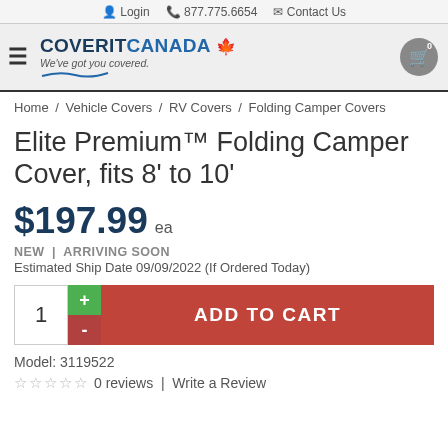Login  877.775.6654  Contact Us
[Figure (logo): CoverIt Canada logo with maple leaf and tagline 'We've got you covered.']
Home / Vehicle Covers / RV Covers / Folding Camper Covers
Elite Premium™ Folding Camper Cover, fits 8' to 10'
$197.99 ea
NEW | ARRIVING SOON
Estimated Ship Date 09/09/2022 (If Ordered Today)
ADD TO CART
Model: 3119522
☆☆☆☆☆ 0 reviews | Write a Review